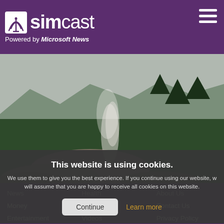simcast — Powered by Microsoft News
[Figure (photo): Landscape photo showing misty smoke rising from rocky mountain terrain with forested hills and hazy mountains in the background]
This website is using cookies.
We use them to give you the best experience. If you continue using our website, we will assume that you are happy to receive all cookies on this website.
Continue   Learn more
News
Money
Entertainment
Lifestyle
Health
Travel
Videos
Sports
About Us
Contact Us
Privacy Policy
Terms of Use